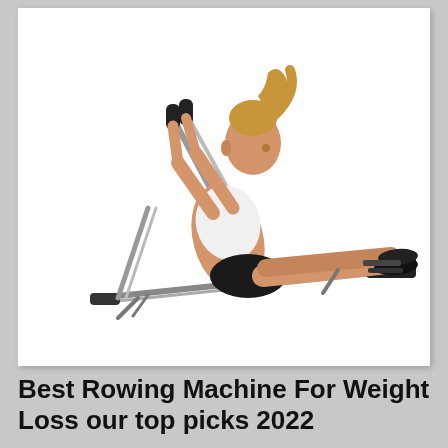[Figure (photo): A fit woman with a blonde ponytail wearing a white sports bra and black shorts, using a silver rowing machine (rower). She is seated on the machine, gripping two handles, with her feet secured in the foot pedals. The machine is a hydraulic-style rowing machine with a silver frame. The background is white.]
Best Rowing Machine For Weight Loss our top picks 2022